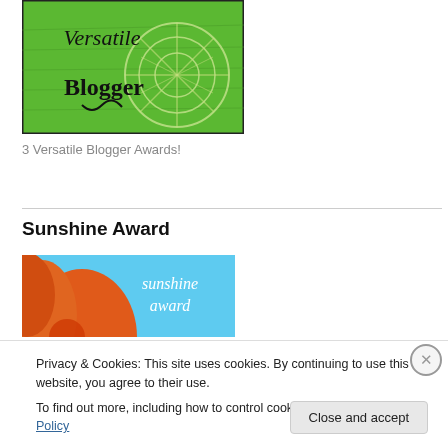[Figure (photo): Versatile Blogger Award badge with green background, floral design, and cursive text reading 'Versatile Blogger']
3 Versatile Blogger Awards!
Sunshine Award
[Figure (photo): Sunshine Award badge with blue sky background and orange flower, text reading 'sunshine award']
Privacy & Cookies: This site uses cookies. By continuing to use this website, you agree to their use.
To find out more, including how to control cookies, see here: Cookie Policy
Close and accept